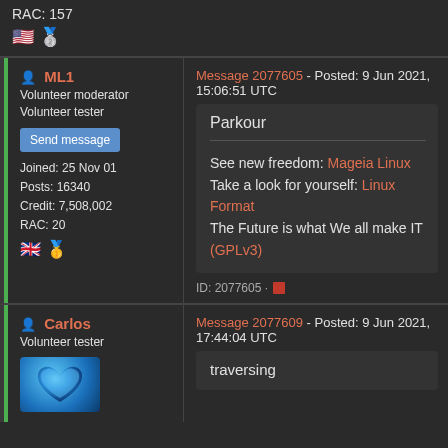RAC: 157
🇺🇸 🥈
ML1 — Message 2077605 - Posted: 9 Jun 2021, 15:06:51 UTC
Volunteer moderator
Volunteer tester
Send message
Joined: 25 Nov 01
Posts: 16340
Credit: 7,508,002
RAC: 20
Parkour

See new freedom: Mageia Linux
Take a look for yourself: Linux Format
The Future is what We all make IT (GPLv3)
ID: 2077605 ·
Carlos — Message 2077609 - Posted: 9 Jun 2021, 17:44:04 UTC
Volunteer tester
traversing